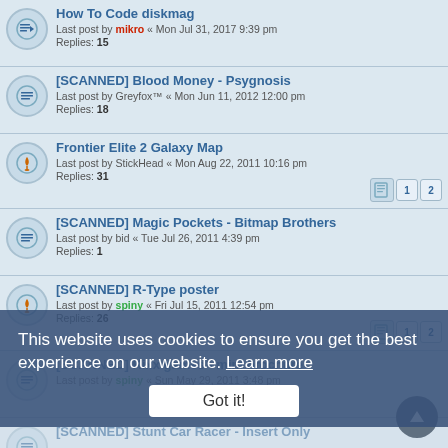How To Code diskmag — Last post by mikro « Mon Jul 31, 2017 9:39 pm — Replies: 15
[SCANNED] Blood Money - Psygnosis — Last post by Greyfox™ « Mon Jun 11, 2012 12:00 pm — Replies: 18
Frontier Elite 2 Galaxy Map — Last post by StickHead « Mon Aug 22, 2011 10:16 pm — Replies: 31
[SCANNED] Magic Pockets - Bitmap Brothers — Last post by bid « Tue Jul 26, 2011 4:39 pm — Replies: 1
[SCANNED] R-Type poster — Last post by spiny « Fri Jul 15, 2011 12:54 pm — Replies: 26
[SCANNED] Kixx games - mini brochure — Last post by spiny « Sun May 29, 2011 3:48 pm
[SCANNED] Stunt Car Racer - Insert Only
[SCANNED] New Zealand Story - Insert only — Last post by spiny « Sun May 29, 2011 10:35 am
[SCANNED] Spellbound - Psyclapse — Last post by wongck « Sun May 29, 2011 1:19 am — Replies: 1
This website uses cookies to ensure you get the best experience on our website. Learn more
Got it!